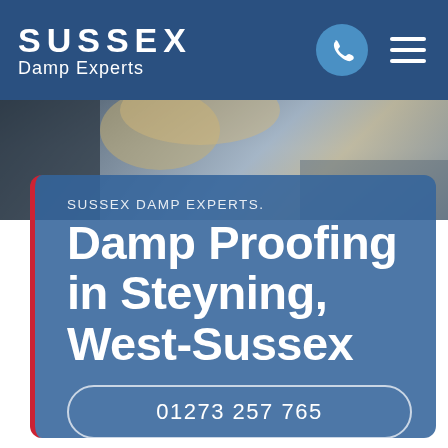SUSSEX Damp Experts
[Figure (photo): Hero background photo showing blurred people, used as website banner image]
SUSSEX DAMP EXPERTS.
Damp Proofing in Steyning, West-Sussex
01273 257 765